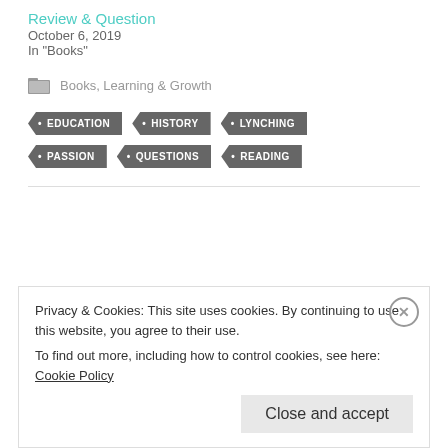Review & Question
October 6, 2019
In "Books"
Books, Learning & Growth
• EDUCATION
• HISTORY
• LYNCHING
• PASSION
• QUESTIONS
• READING
Privacy & Cookies: This site uses cookies. By continuing to use this website, you agree to their use.
To find out more, including how to control cookies, see here: Cookie Policy
Close and accept